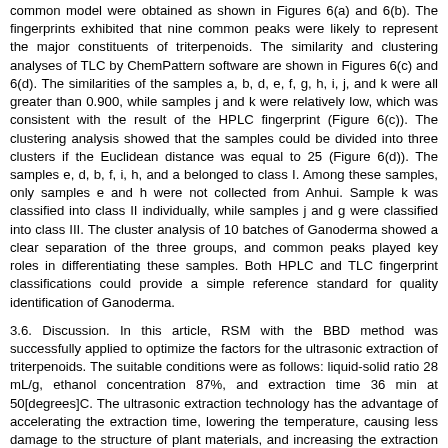common model were obtained as shown in Figures 6(a) and 6(b). The fingerprints exhibited that nine common peaks were likely to represent the major constituents of triterpenoids. The similarity and clustering analyses of TLC by ChemPattern software are shown in Figures 6(c) and 6(d). The similarities of the samples a, b, d, e, f, g, h, i, j, and k were all greater than 0.900, while samples j and k were relatively low, which was consistent with the result of the HPLC fingerprint (Figure 6(c)). The clustering analysis showed that the samples could be divided into three clusters if the Euclidean distance was equal to 25 (Figure 6(d)). The samples e, d, b, f, i, h, and a belonged to class I. Among these samples, only samples e and h were not collected from Anhui. Sample k was classified into class II individually, while samples j and g were classified into class III. The cluster analysis of 10 batches of Ganoderma showed a clear separation of the three groups, and common peaks played key roles in differentiating these samples. Both HPLC and TLC fingerprint classifications could provide a simple reference standard for quality identification of Ganoderma.
3.6. Discussion. In this article, RSM with the BBD method was successfully applied to optimize the factors for the ultrasonic extraction of triterpenoids. The suitable conditions were as follows: liquid-solid ratio 28 mL/g, ethanol concentration 87%, and extraction time 36 min at 50[degrees]C. The ultrasonic extraction technology has the advantage of accelerating the extraction time, lowering the temperature, causing less damage to the structure of plant materials, and increasing the extraction yield. It is more suitable for the extraction of triterpenoids. RSM is an effective statistical method useful for optimizing a complex process and evaluating the interaction between multiple parameters [21]. The yield of triterpenoids of 7.338 [+ or -] 0.150 mg/g could be attained, which was consistent with the theoretical predicted value (7.3118 mg/g). Therefore, the model was considered to be reliable, and RSM could be used for predicting the